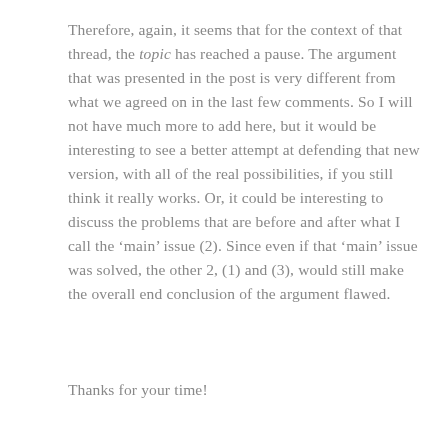Therefore, again, it seems that for the context of that thread, the topic has reached a pause. The argument that was presented in the post is very different from what we agreed on in the last few comments. So I will not have much more to add here, but it would be interesting to see a better attempt at defending that new version, with all of the real possibilities, if you still think it really works. Or, it could be interesting to discuss the problems that are before and after what I call the ‘main’ issue (2). Since even if that ‘main’ issue was solved, the other 2, (1) and (3), would still make the overall end conclusion of the argument flawed.
Thanks for your time!